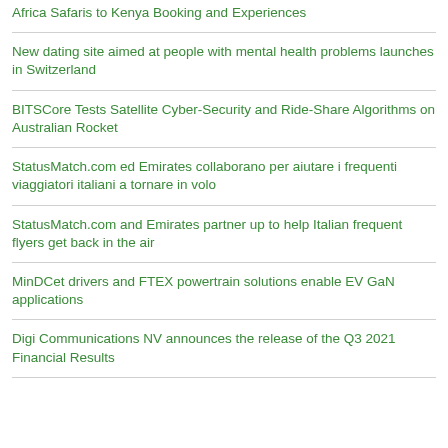Africa Safaris to Kenya Booking and Experiences
New dating site aimed at people with mental health problems launches in Switzerland
BITSCore Tests Satellite Cyber-Security and Ride-Share Algorithms on Australian Rocket
StatusMatch.com ed Emirates collaborano per aiutare i frequenti viaggiatori italiani a tornare in volo
StatusMatch.com and Emirates partner up to help Italian frequent flyers get back in the air
MinDCet drivers and FTEX powertrain solutions enable EV GaN applications
Digi Communications NV announces the release of the Q3 2021 Financial Results